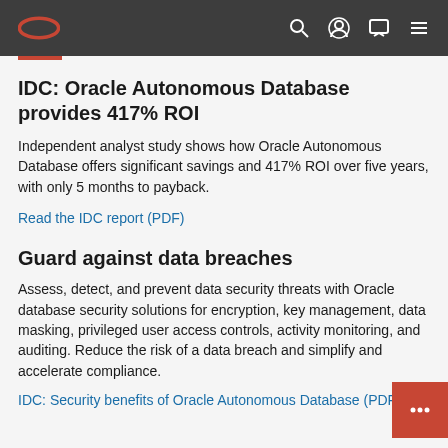Oracle navigation bar with logo and icons
IDC: Oracle Autonomous Database provides 417% ROI
Independent analyst study shows how Oracle Autonomous Database offers significant savings and 417% ROI over five years, with only 5 months to payback.
Read the IDC report (PDF)
Guard against data breaches
Assess, detect, and prevent data security threats with Oracle database security solutions for encryption, key management, data masking, privileged user access controls, activity monitoring, and auditing. Reduce the risk of a data breach and simplify and accelerate compliance.
IDC: Security benefits of Oracle Autonomous Database (PDF)